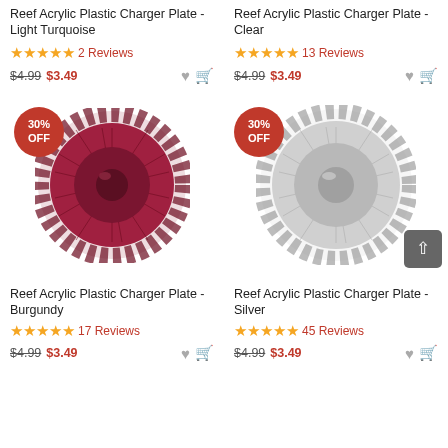Reef Acrylic Plastic Charger Plate - Light Turquoise
★★★★★ 2 Reviews
$4.99 $3.49
Reef Acrylic Plastic Charger Plate - Clear
★★★★★ 13 Reviews
$4.99 $3.49
[Figure (photo): Reef Acrylic Plastic Charger Plate in Burgundy color, with 30% OFF badge]
[Figure (photo): Reef Acrylic Plastic Charger Plate in Silver color, with 30% OFF badge]
Reef Acrylic Plastic Charger Plate - Burgundy
★★★★★ 17 Reviews
$4.99 $3.49
Reef Acrylic Plastic Charger Plate - Silver
★★★★★ 45 Reviews
$4.99 $3.49